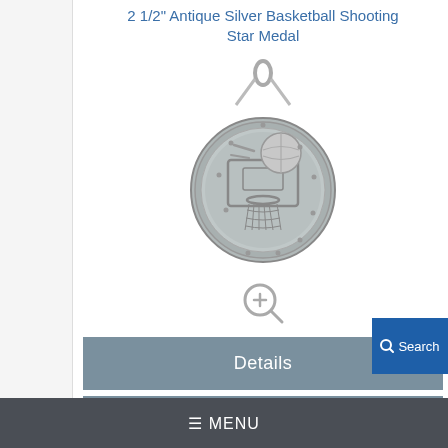2 1/2" Antique Silver Basketball Shooting Star Medal
[Figure (photo): Antique silver basketball shooting star medal with wreath border and basketball hoop design, shown with a bail/ring on top for ribbon attachment. Below the medal is a zoom/magnify icon (circle with plus sign and magnifying glass handle).]
Details
Instructions
Login to Add
Search
≡ MENU